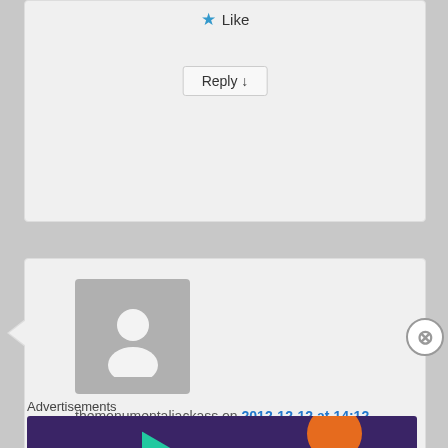[Figure (other): Like button with blue star icon]
Reply ↓
[Figure (other): Default user avatar placeholder (grey silhouette)]
themonumentaljackass on 2012-12-12 at 14:12 said:
What a beautiful, beautiful occurrence. Christmas spirit is nothing but a man's goodness manifest. I salute you, sir 🙂
Advertisements
[Figure (other): WooCommerce advertisement banner: 'Turn your hobby into a business in 8 steps']